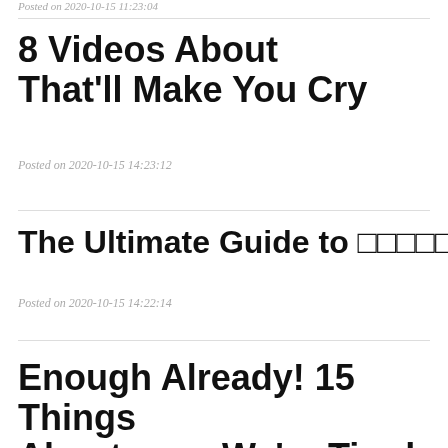Posted on 2020-10-15 11:23:04
8 Videos About That'll Make You Cry
Posted on 2020-10-15 14:23:12
The Ultimate Guide to 囧囧囧囧囧囧
Posted on 2020-10-15 14:22:14
Enough Already! 15 Things About          We're Tired